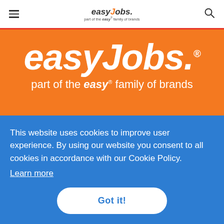easyJobs. part of the easy® family of brands
easyJobs.
part of the easy® family of brands
[Figure (illustration): Dark blue card/device element partially visible behind cookie consent banner]
This website uses cookies to improve user experience. By using our website you consent to all cookies in accordance with our Cookie Policy.
Learn more
Got it!